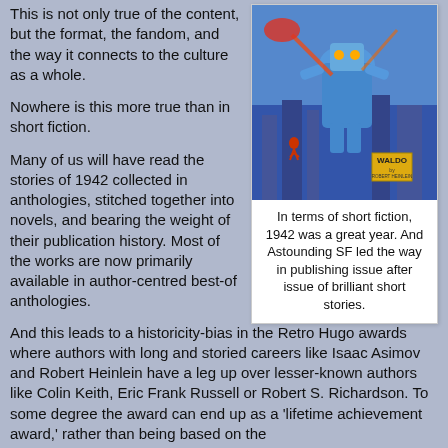This is not only true of the content, but the format, the fandom, and the way it connects to the culture as a whole.
[Figure (illustration): Book cover illustration showing a large blue robot or mechanical figure with a person in the foreground and colorful sci-fi imagery. The book is 'Waldo' published in 1942.]
In terms of short fiction, 1942 was a great year. And Astounding SF led the way in publishing issue after issue of brilliant short stories.
Nowhere is this more true than in short fiction.
Many of us will have read the stories of 1942 collected in anthologies, stitched together into novels, and bearing the weight of their publication history. Most of the works are now primarily available in author-centred best-of anthologies.
And this leads to a historicity-bias in the Retro Hugo awards where authors with long and storied careers like Isaac Asimov and Robert Heinlein have a leg up over lesser-known authors like Colin Keith, Eric Frank Russell or Robert S. Richardson. To some degree the award can end up as a 'lifetime achievement award,' rather than being based on the